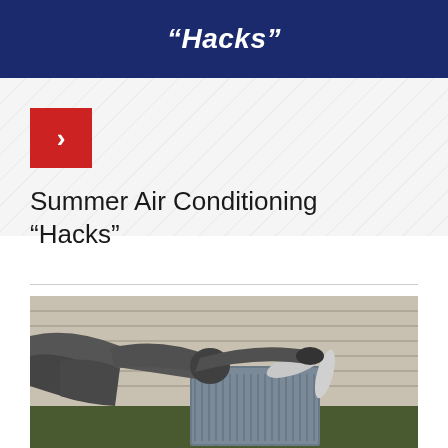“Hacks”
Summer Air Conditioning “Hacks”
[Figure (photo): A technician in gray work clothes leaning over an outdoor air conditioning condenser unit, inspecting or servicing the fan assembly. The unit is positioned against a house with beige siding.]